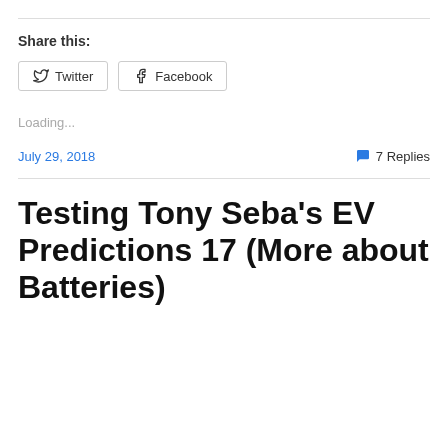Share this:
Twitter  Facebook
Loading...
July 29, 2018   7 Replies
Testing Tony Seba's EV Predictions 17 (More about Batteries)